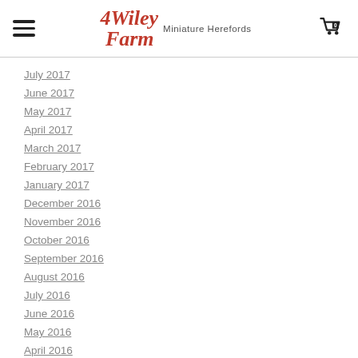4Wiley Farm Miniature Herefords
July 2017
June 2017
May 2017
April 2017
March 2017
February 2017
January 2017
December 2016
November 2016
October 2016
September 2016
August 2016
July 2016
June 2016
May 2016
April 2016
March 2016
February 2016